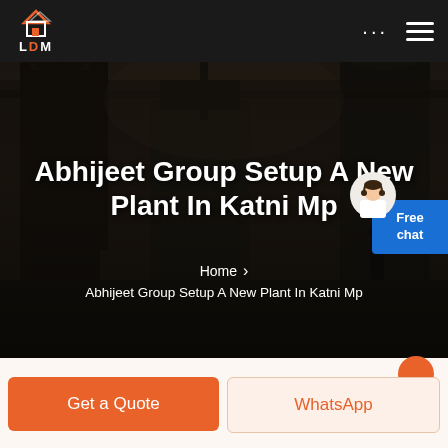[Figure (screenshot): Website screenshot with dark navigation bar showing LDM logo, three dots menu and hamburger menu icon. Hero section with industrial factory/plant interior background image showing machinery and equipment. Overlay text reading 'Abhijeet Group Setup A New Plant In Katni Mp' with breadcrumb navigation below. Blue 'Free chat' widget on right side with avatar. Bottom section with orange 'Get a Quote' button and 'WhatsApp' button on light background.]
LDM
Abhijeet Group Setup A New Plant In Katni Mp
Home > Abhijeet Group Setup A New Plant In Katni Mp
Get a Quote
WhatsApp